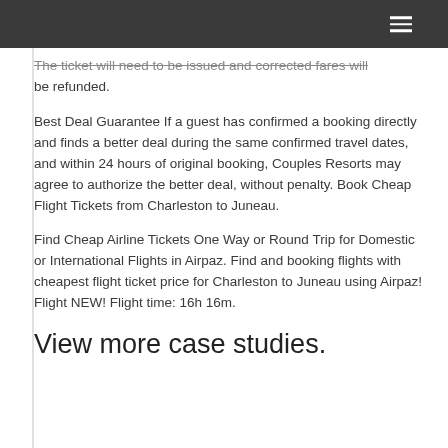The ticket will need to be issued and corrected fares will be refunded.
Best Deal Guarantee If a guest has confirmed a booking directly and finds a better deal during the same confirmed travel dates, and within 24 hours of original booking, Couples Resorts may agree to authorize the better deal, without penalty. Book Cheap Flight Tickets from Charleston to Juneau.
Find Cheap Airline Tickets One Way or Round Trip for Domestic or International Flights in Airpaz. Find and booking flights with cheapest flight ticket price for Charleston to Juneau using Airpaz! Flight NEW! Flight time: 16h 16m.
View more case studies.